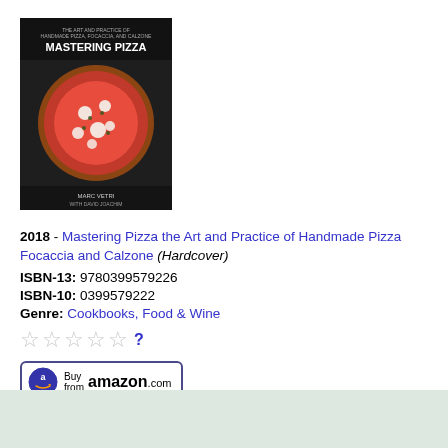[Figure (illustration): Book cover of Mastering Pizza - dark background with pizza image and title text]
2018 - Mastering Pizza the Art and Practice of Handmade Pizza Focaccia and Calzone (Hardcover)
ISBN-13: 9780399579226
ISBN-10: 0399579222
Genre: Cookbooks, Food & Wine
★★★★★ ?
[Figure (illustration): Buy from amazon.com button with Amazon logo]
[Figure (illustration): Book cover of Grill School - dark background with grilled meat and title text]